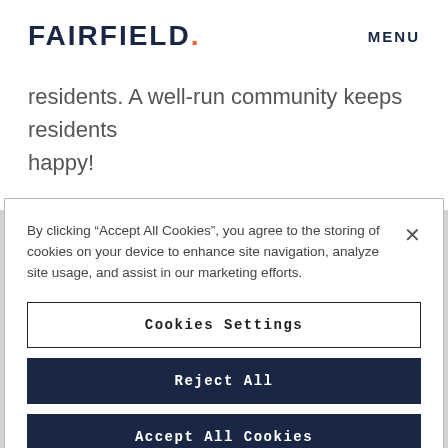FAIRFIELD. MENU
residents. A well-run community keeps residents happy!
Apartmentality: Greg, as you know, Fairfield’s tag line is Creating Better Living for Better
By clicking “Accept All Cookies”, you agree to the storing of cookies on your device to enhance site navigation, analyze site usage, and assist in our marketing efforts.
Cookies Settings
Reject All
Accept All Cookies